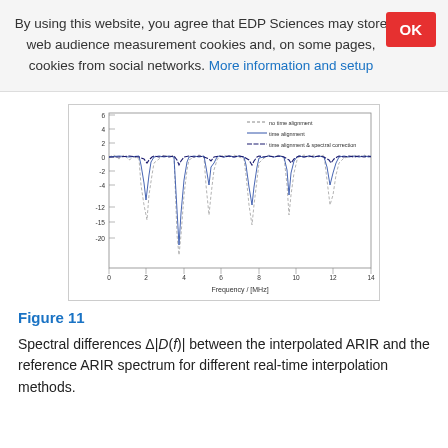By using this website, you agree that EDP Sciences may store web audience measurement cookies and, on some pages, cookies from social networks. More information and setup
[Figure (continuous-plot): Line chart showing spectral differences Δ|D(f)| in dB vs Frequency in MHz (0-14 MHz). Three lines: no time alignment (dotted), time alignment (thin solid), time alignment & spectral correction (dashed). Values mostly near 0 dB with sharp dips down to about -25 to -30 dB at several frequency points.]
Figure 11
Spectral differences Δ|D(f)| between the interpolated ARIR and the reference ARIR spectrum for different real-time interpolation methods.